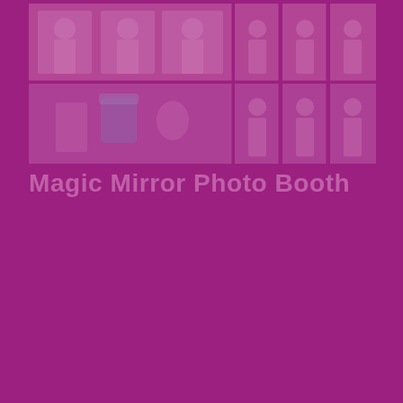[Figure (photo): A collage grid of photos from a Magic Mirror Photo Booth event, showing groups of people posing. The photos have a pink/magenta tinted overlay. The grid has two rows: left column has one large photo each row, right column has three smaller photos each row.]
Magic Mirror Photo Booth